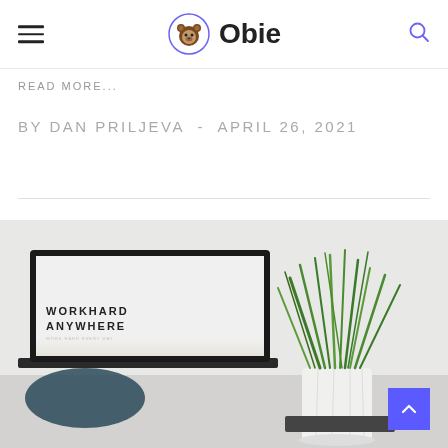Obie
READ MORE...
BY DAN PRILJEVA  -  APRIL 26, 2021
[Figure (photo): Desk scene with a laptop showing 'WORKHARD ANYWHERE' on screen and a white pot with green grass plant on the right, on a light grey background]